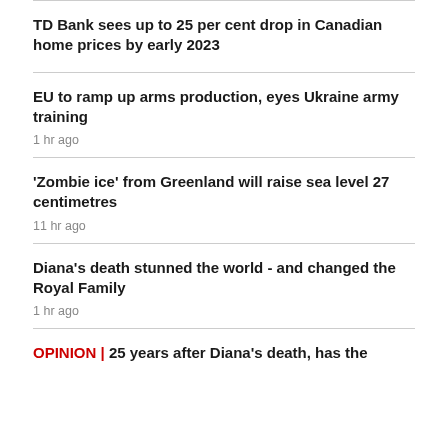TD Bank sees up to 25 per cent drop in Canadian home prices by early 2023
EU to ramp up arms production, eyes Ukraine army training
1 hr ago
'Zombie ice' from Greenland will raise sea level 27 centimetres
11 hr ago
Diana's death stunned the world - and changed the Royal Family
1 hr ago
OPINION | 25 years after Diana's death, has the